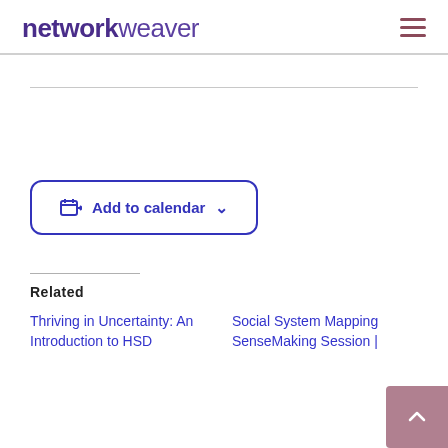networkweaver
[Figure (logo): Network Weaver logo with bold 'network' and regular weight 'weaver' text in purple]
Add to calendar
Related
Thriving in Uncertainty: An Introduction to HSD
Social System Mapping SenseMaking Session |